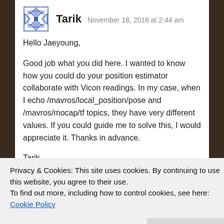Tarik  November 18, 2016 at 2:44 am
Hello Jaeyoung,
Good job what you did here. I wanted to know how you could do your position estimator collaborate with Vicon readings. In my case, when I echo /mavros/local_position/pose and /mavros/mocap/tf topics, they have very different values. If you could guide me to solve this, I would appreciate it. Thanks in advance.
Tarik
★ Like
Privacy & Cookies: This site uses cookies. By continuing to use this website, you agree to their use.
To find out more, including how to control cookies, see here: Cookie Policy
Close and accept